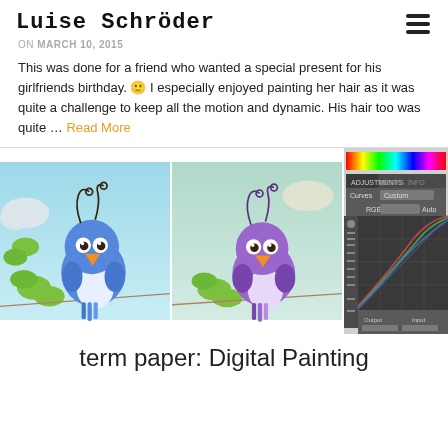Luise Schröder
on MARCH 10, 2015
This was done for a friend who wanted a special present for his girlfriends birthday. 🙂 I especially enjoyed painting her hair as it was quite a challenge to keep all the motion and dynamic. His hair too was quite … Read More
[Figure (illustration): Three-panel image strip: left panel shows a cartoon blue bird standing on a wire with green leaves on teal background; middle panel shows a similar purple-tinted cartoon bird; right panel shows a Photoshop Curves adjustment panel interface.]
term paper: Digital Painting